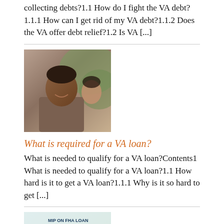collecting debts?1.1 How do I fight the VA debt?1.1.1 How can I get rid of my VA debt?1.1.2 Does the VA offer debt relief?1.2 Is VA [...]
[Figure (photo): Photo of a smiling man with a woman in the background, outdoors]
What is required for a VA loan?
What is needed to qualify for a VA loan?Contents1 What is needed to qualify for a VA loan?1.1 How hard is it to get a VA loan?1.1.1 Why is it so hard to get [...]
[Figure (infographic): MIP on FHA loan infographic showing 1.75% rate with FHA book/document graphic and bullet points]
How long is mortgage insurance required for FHA?